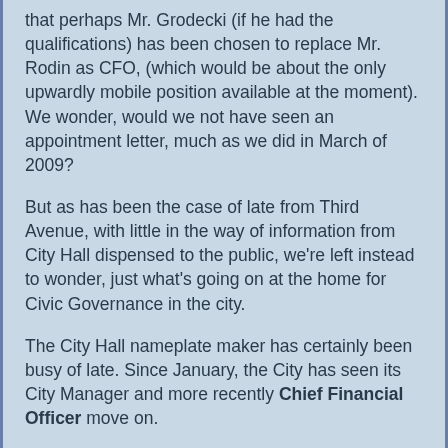that perhaps Mr. Grodecki (if he had the qualifications) has been chosen to replace Mr. Rodin as CFO, (which would be about the only upwardly mobile position available at the moment). We wonder, would we not have seen an appointment letter, much as we did in March of 2009?
But as has been the case of late from Third Avenue, with little in the way of information from City Hall dispensed to the public, we're left instead to wonder, just what's going on at the home for Civic Governance in the city.
The City Hall nameplate maker has certainly been busy of late. Since January, the City has seen its City Manager and more recently Chief Financial Officer move on.
One, Mr Howie, for a position on Vancouver Island. The latter Mr. Rodin to remain a member of the community, though not in the city's employ any more.
All of which, combined with the just released job posting, makes for a rather swift revolving door situation in just five months.